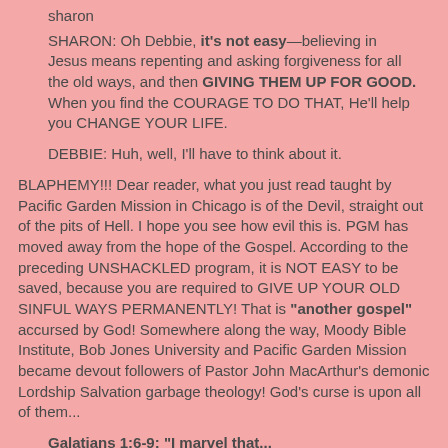sharon
SHARON: Oh Debbie, it's not easy—believing in Jesus means repenting and asking forgiveness for all the old ways, and then GIVING THEM UP FOR GOOD. When you find the COURAGE TO DO THAT, He'll help you CHANGE YOUR LIFE.
DEBBIE: Huh, well, I'll have to think about it.
BLAPHEMY!!! Dear reader, what you just read taught by Pacific Garden Mission in Chicago is of the Devil, straight out of the pits of Hell. I hope you see how evil this is. PGM has moved away from the hope of the Gospel. According to the preceding UNSHACKLED program, it is NOT EASY to be saved, because you are required to GIVE UP YOUR OLD SINFUL WAYS PERMANENTLY! That is "another gospel" accursed by God! Somewhere along the way, Moody Bible Institute, Bob Jones University and Pacific Garden Mission became devout followers of Pastor John MacArthur's demonic Lordship Salvation garbage theology! God's curse is upon all of them...
Galatians 1:6-9: "I marvel that...